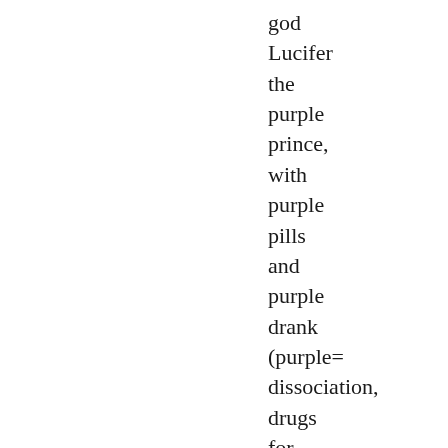god
Lucifer
the
purple
prince,
with
purple
pills
and
purple
drank
(purple=
dissociation,
drugs
for
mind